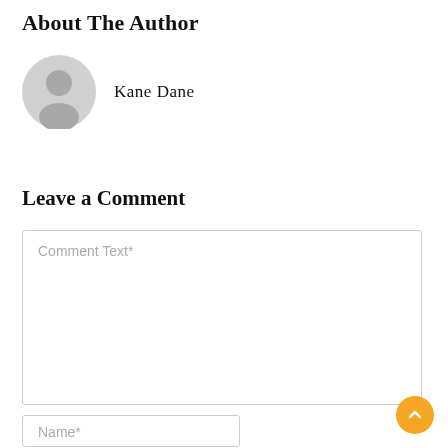About The Author
[Figure (illustration): Gray circular avatar icon showing a generic user silhouette with head and shoulders]
Kane Dane
Leave a Comment
Comment Text*
Name*